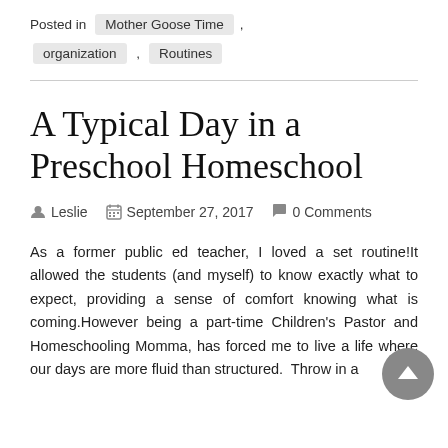Posted in   Mother Goose Time  ,
organization  ,   Routines
A Typical Day in a Preschool Homeschool
Leslie   September 27, 2017   0 Comments
As a former public ed teacher, I loved a set routine!It allowed the students (and myself) to know exactly what to expect, providing a sense of comfort knowing what is coming.However being a part-time Children's Pastor and Homeschooling Momma, has forced me to live a life where our days are more fluid than structured.  Throw in a